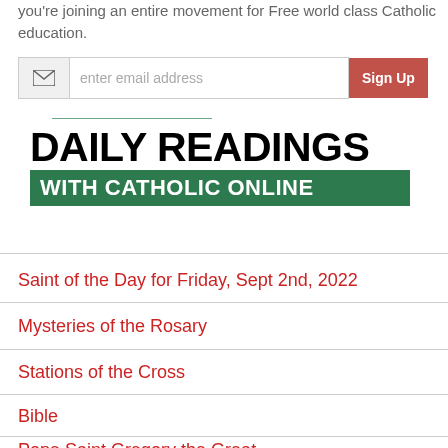you're joining an entire movement for Free world class Catholic education.
[Figure (screenshot): Email signup form with envelope icon, 'enter email address' placeholder, and 'Sign Up' red button]
[Figure (logo): Daily Readings with Catholic Online logo — large bold black text 'DAILY READINGS' above green banner 'WITH CATHOLIC ONLINE']
Saint of the Day for Friday, Sept 2nd, 2022
Mysteries of the Rosary
Stations of the Cross
Bible
Pope Saint Gregory the Great